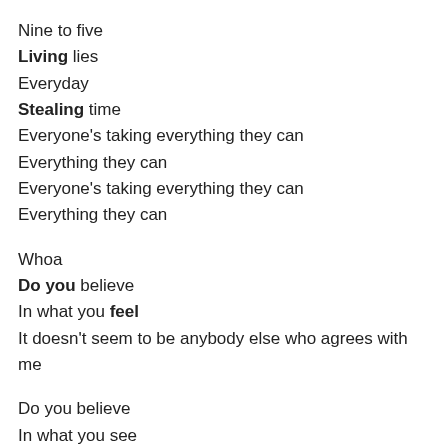Nine to five
Living lies
Everyday
Stealing time
Everyone's taking everything they can
Everything they can
Everyone's taking everything they can
Everything they can
Whoa
Do you believe
In what you feel
It doesn't seem to be anybody else who agrees with me
Do you believe
In what you see
Motionless wheel